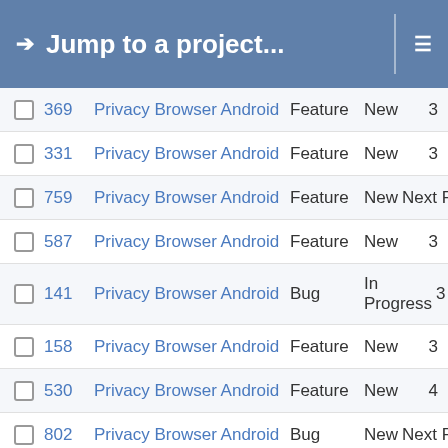Jump to a project...
|  | # | Project | Type | Status |  |
| --- | --- | --- | --- | --- | --- |
|  | 369 | Privacy Browser Android | Feature | New | 3 |
|  | 331 | Privacy Browser Android | Feature | New | 3 |
|  | 759 | Privacy Browser Android | Feature | New | Next R |
|  | 587 | Privacy Browser Android | Feature | New | 3 |
|  | 141 | Privacy Browser Android | Bug | In Progress | 3 |
|  | 158 | Privacy Browser Android | Feature | New | 3 |
|  | 530 | Privacy Browser Android | Feature | New | 4 |
|  | 802 | Privacy Browser Android | Bug | New | Next R |
|  | 835 | Privacy Browser PC | Feature | New | 1 |